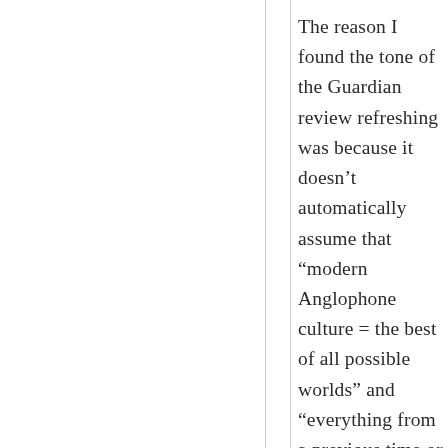The reason I found the tone of the Guardian review refreshing was because it doesn’t automatically assume that “modern Anglophone culture = the best of all possible worlds” and „verything from a previous time or from another culture